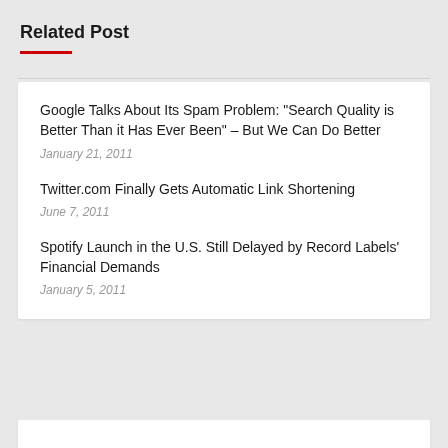Related Post
Google Talks About Its Spam Problem: "Search Quality is Better Than it Has Ever Been" – But We Can Do Better
January 21, 2011
Twitter.com Finally Gets Automatic Link Shortening
June 7, 2011
Spotify Launch in the U.S. Still Delayed by Record Labels' Financial Demands
January 5, 2011